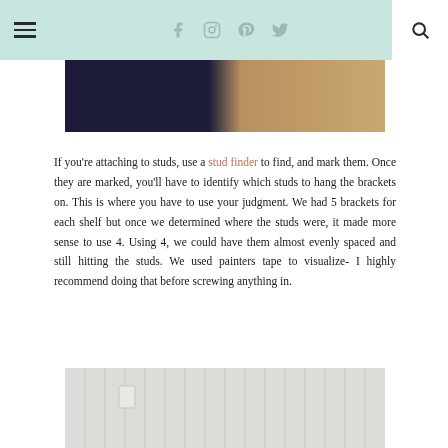Navigation bar with hamburger menu, social icons (Facebook, Instagram, Pinterest, Twitter), and search icon
[Figure (photo): Top portion of a photo showing a dark navy/blue background on the left and a wooden surface on the right]
If you're attaching to studs, use a stud finder to find, and mark them. Once they are marked, you'll have to identify which studs to hang the brackets on. This is where you have to use your judgment. We had 5 brackets for each shelf but once we determined where the studs were, it made more sense to use 4. Using 4, we could have them almost evenly spaced and still hitting the studs. We used painters tape to visualize- I highly recommend doing that before screwing anything in.
[Figure (photo): Bottom photo showing a white beadboard wall with a small white shelf bracket mounted on it]